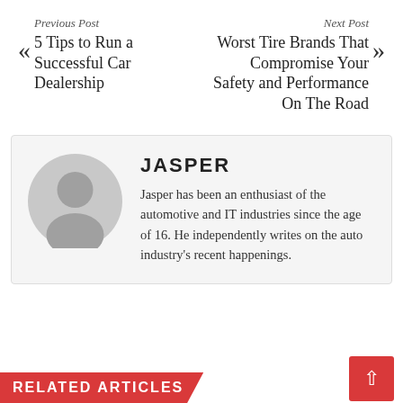Previous Post
5 Tips to Run a Successful Car Dealership
Next Post
Worst Tire Brands That Compromise Your Safety and Performance On The Road
JASPER
Jasper has been an enthusiast of the automotive and IT industries since the age of 16. He independently writes on the auto industry's recent happenings.
RELATED ARTICLES